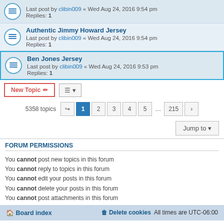Last post by clibin009 « Wed Aug 24, 2016 9:54 pm
Replies: 1
Authentic Jimmy Howard Jersey
Last post by clibin009 « Wed Aug 24, 2016 9:54 pm
Replies: 1
Ben Jones Jersey
Last post by clibin009 « Wed Aug 24, 2016 9:53 pm
Replies: 1
5358 topics
FORUM PERMISSIONS
You cannot post new topics in this forum
You cannot reply to topics in this forum
You cannot edit your posts in this forum
You cannot delete your posts in this forum
You cannot post attachments in this forum
Board index | Delete cookies | All times are UTC-06:00
Powered by phpBB® Forum Software © phpBB Limited
Privacy | Terms